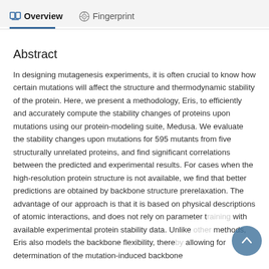Overview   Fingerprint
Abstract
In designing mutagenesis experiments, it is often crucial to know how certain mutations will affect the structure and thermodynamic stability of the protein. Here, we present a methodology, Eris, to efficiently and accurately compute the stability changes of proteins upon mutations using our protein-modeling suite, Medusa. We evaluate the stability changes upon mutations for 595 mutants from five structurally unrelated proteins, and find significant correlations between the predicted and experimental results. For cases when the high-resolution protein structure is not available, we find that better predictions are obtained by backbone structure prerelaxation. The advantage of our approach is that it is based on physical descriptions of atomic interactions, and does not rely on parameter training with available experimental protein stability data. Unlike other methods, Eris also models the backbone flexibility, thereby allowing for determination of the mutation-induced backbone